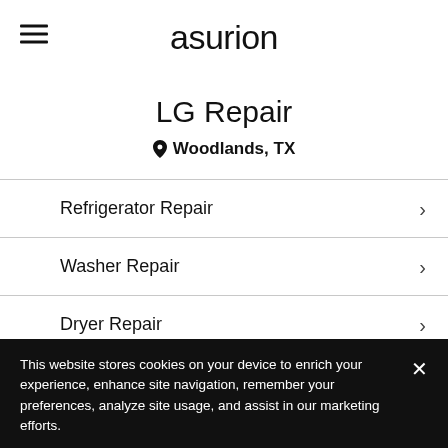asurion
LG Repair
Woodlands, TX
Refrigerator Repair
Washer Repair
Dryer Repair
Dishwasher Repair
This website stores cookies on your device to enrich your experience, enhance site navigation, remember your preferences, analyze site usage, and assist in our marketing efforts.